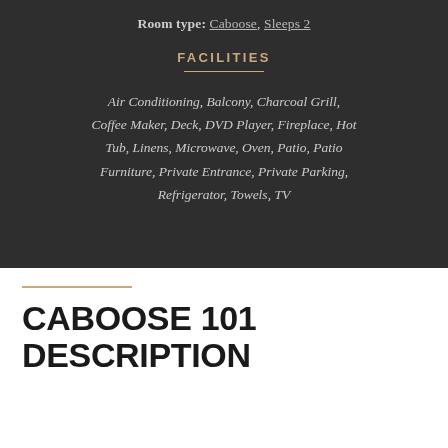Room type: Caboose, Sleeps 2
FACILITIES
Air Conditioning, Balcony, Charcoal Grill, Coffee Maker, Deck, DVD Player, Fireplace, Hot Tub, Linens, Microwave, Oven, Patio, Patio Furniture, Private Entrance, Private Parking, Refrigerator, Towels, TV
CABOOSE 101 DESCRIPTION